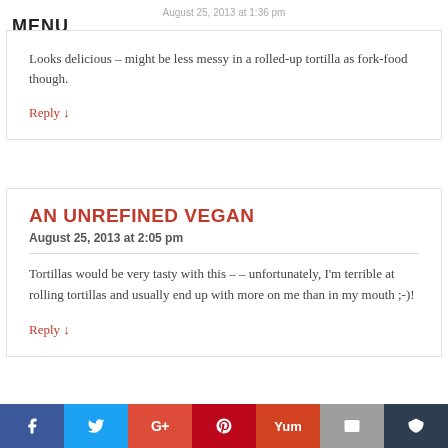August 25, 2013 at 1:36 pm
MENU
Looks delicious – might be less messy in a rolled-up tortilla as fork-food though.
Reply ↓
AN UNREFINED VEGAN
August 25, 2013 at 2:05 pm
Tortillas would be very tasty with this – – unfortunately, I'm terrible at rolling tortillas and usually end up with more on me than in my mouth ;-)!
Reply ↓
[Figure (infographic): Social sharing bar with icons for Facebook, Twitter, Google+, Pinterest, Yummly, Email, and a crown icon]